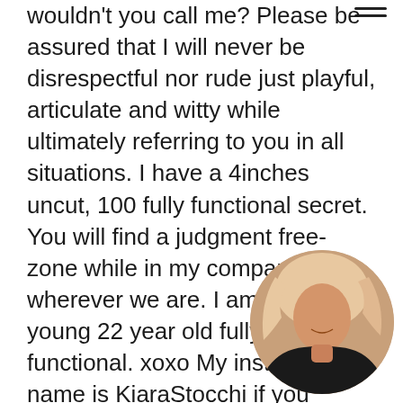wouldn't you call me? Please be assured that I will never be disrespectful nor rude just playful, articulate and witty while ultimately referring to you in all situations. I have a 4inches uncut, 100 fully functional secret. You will find a judgment free- zone while in my company wherever we are. I am Shiree a young 22 year old fully- functional. xoxo My instagram name is KiaraStocchi if you would like to follow and see more pictures and be connected to me and everyday but be aware that I' m not a prostitute but a professional escort who loves sharing love to this community and to the world we live in so any hateful comments will be immediately banned. I am Shiree discreet and my experienced over four years as a professi in Alingsås( my hometown and in around t Whether its your first time or you are si you' ll feel completely comfortable with m e extremely big thing, mine is small and fits on my
[Figure (photo): Circular profile photo of a woman with blonde hair wearing a black outfit, shown in lower right corner]